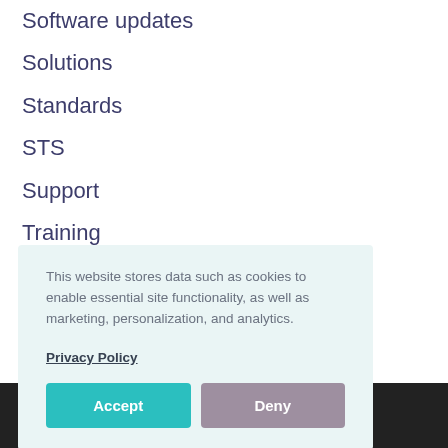Software updates
Solutions
Standards
STS
Support
Training
Typefi
Video
Word Tl...
This website stores data such as cookies to enable essential site functionality, as well as marketing, personalization, and analytics.
Privacy Policy
Accept
Deny
INERA